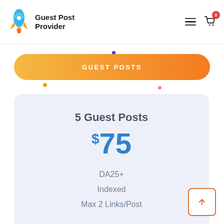Guest Post Provider
[Figure (illustration): Rocket logo icon for Guest Post Provider]
GUEST POSTS
5 Guest Posts
$75
DA25+
Indexed
Max 2 Links/Post